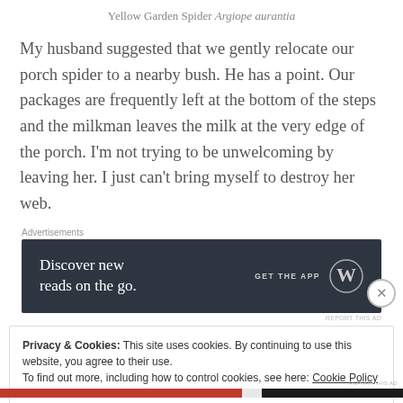Yellow Garden Spider Argiope aurantia
My husband suggested that we gently relocate our porch spider to a nearby bush. He has a point. Our packages are frequently left at the bottom of the steps and the milkman leaves the milk at the very edge of the porch. I'm not trying to be unwelcoming by leaving her. I just can't bring myself to destroy her web.
Advertisements
[Figure (infographic): Dark banner advertisement reading 'Discover new reads on the go.' with 'GET THE APP' and WordPress logo on the right.]
REPORT THIS AD
Privacy & Cookies: This site uses cookies. By continuing to use this website, you agree to their use.
To find out more, including how to control cookies, see here: Cookie Policy
Close and accept